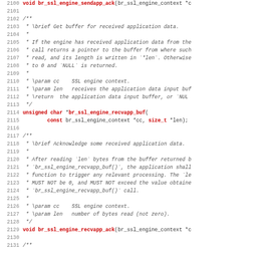Source code documentation listing lines 2100-2131, showing C API declarations for SSL engine buffer functions including br_ssl_engine_sendapp_ack, br_ssl_engine_recvapp_buf, and br_ssl_engine_recvapp_ack with Doxygen-style comments.